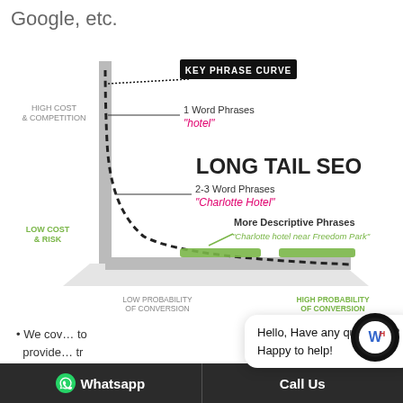Google, etc.
[Figure (infographic): Long Tail SEO key phrase curve diagram showing a dashed curve from high cost & competition (top-left) to low cost & risk (bottom-left), with a green bar at the tail. Labels: '1 Word Phrases - hotel', '2-3 Word Phrases - Charlotte Hotel', 'More Descriptive Phrases - Charlotte hotel near Freedom Park'. X-axis: Low Probability of Conversion (left) to High Probability of Conversion (right). Y-axis: High Cost & Competition (top) to Low Cost & Risk (bottom). Title: LONG TAIL SEO.]
We cover to provide tr...
Hello, Have any questions? Happy to help!
Whatsapp   Call Us